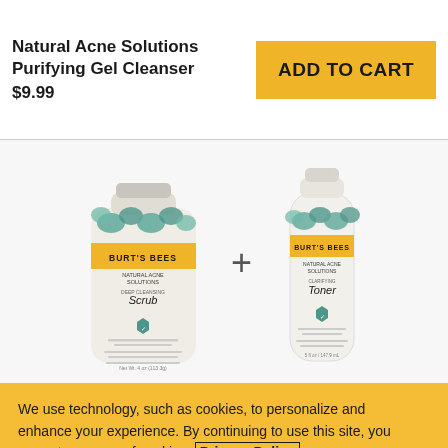Natural Acne Solutions Purifying Gel Cleanser
$9.99
ADD TO CART
[Figure (photo): Two Burt's Bees Natural Acne Solutions products side by side with a plus sign between them: a Deep Cleansing Scrub tube on the left and a Clarifying Toner bottle on the right]
We use technology, such as cookies, to personalize and enhance your experience. By continuing to use this site, you agree to our use of cookies. Privacy Policy
Cookie Settings
Got It